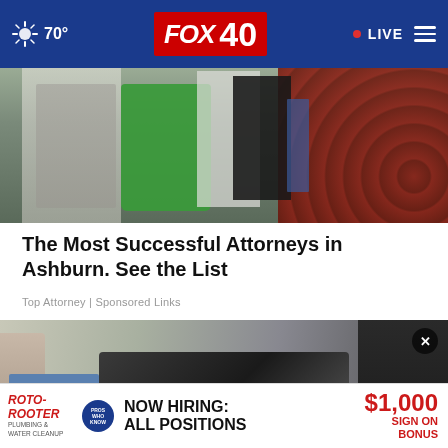FOX 40 | 70° | LIVE
[Figure (photo): People standing in a ballroom/event space with a red patterned carpet, a person in a green dress visible, dark background]
The Most Successful Attorneys in Ashburn. See the List
Top Attorney | Sponsored Links
[Figure (photo): Close-up of plumbing or mechanical equipment on a sidewalk/outdoor surface, with people's legs visible, red cables/hoses visible]
[Figure (other): Roto-Rooter advertisement banner: NOW HIRING: ALL POSITIONS | $1,000 SIGN ON BONUS]